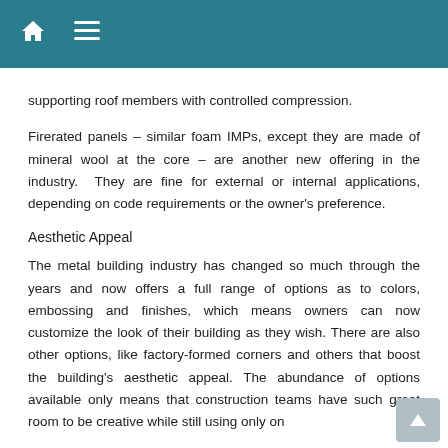🏠 ≡
supporting roof members with controlled compression.
Firerated panels – similar foam IMPs, except they are made of mineral wool at the core – are another new offering in the industry. They are fine for external or internal applications, depending on code requirements or the owner's preference.
Aesthetic Appeal
The metal building industry has changed so much through the years and now offers a full range of options as to colors, embossing and finishes, which means owners can now customize the look of their building as they wish. There are also other options, like factory-formed corners and others that boost the building's aesthetic appeal. The abundance of options available only means that construction teams have such great room to be creative while still using only on